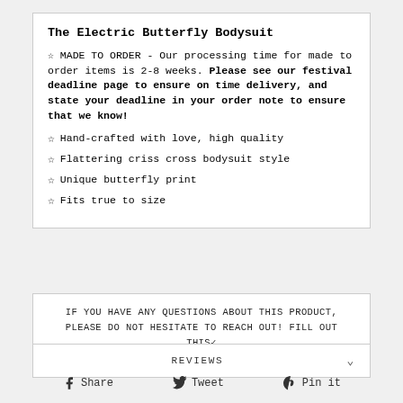The Electric Butterfly Bodysuit
☆ MADE TO ORDER - Our processing time for made to order items is 2-8 weeks. Please see our festival deadline page to ensure on time delivery, and state your deadline in your order note to ensure that we know!
☆ Hand-crafted with love, high quality
☆ Flattering criss cross bodysuit style
☆ Unique butterfly print
☆ Fits true to size
IF YOU HAVE ANY QUESTIONS ABOUT THIS PRODUCT, PLEASE DO NOT HESITATE TO REACH OUT! FILL OUT THIS FORM AND SOME ONE WILL GET BACK TO YOUR SHORTLY.
REVIEWS
Share  Tweet  Pin it